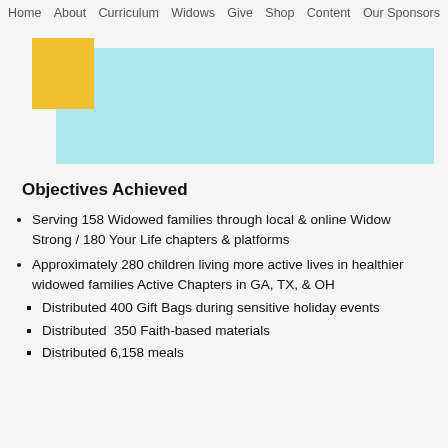Home  About  Curriculum  Widows  Give  Shop  Content  Our Sponsors
[Figure (illustration): Banner area with a light blue (cyan) rectangle and a yellow square overlapping it on the left side]
Objectives Achieved
Serving 158 Widowed families through local & online Widow Strong / 180 Your Life chapters & platforms
Approximately 280 children living more active lives in healthier widowed families Active Chapters in GA, TX, & OH
Distributed 400 Gift Bags during sensitive holiday events
Distributed  350 Faith-based materials
Distributed 6,158 meals